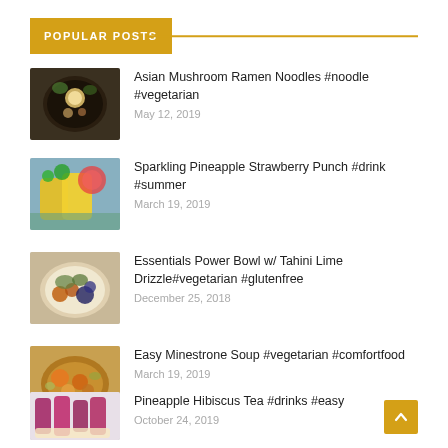POPULAR POSTS
Asian Mushroom Ramen Noodles #noodle #vegetarian
May 12, 2019
Sparkling Pineapple Strawberry Punch #drink #summer
March 19, 2019
Essentials Power Bowl w/ Tahini Lime Drizzle#vegetarian #glutenfree
December 25, 2018
Easy Minestrone Soup #vegetarian #comfortfood
March 19, 2019
Pineapple Hibiscus Tea #drinks #easy
October 24, 2019